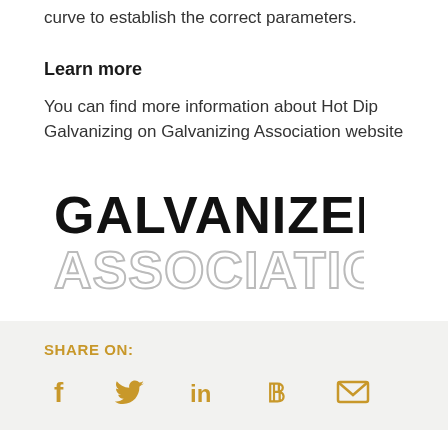curve to establish the correct parameters.
Learn more
You can find more information about Hot Dip Galvanizing on Galvanizing Association website
[Figure (logo): Galvanizers Association logo — 'GALVANIZERS' in bold black text above 'ASSOCIATION' in large outlined/gray letters]
SHARE ON:
[Figure (infographic): Social sharing icons: Facebook (f), Twitter bird, LinkedIn (in), Pinterest (P), Email (envelope) — all in golden/amber color]